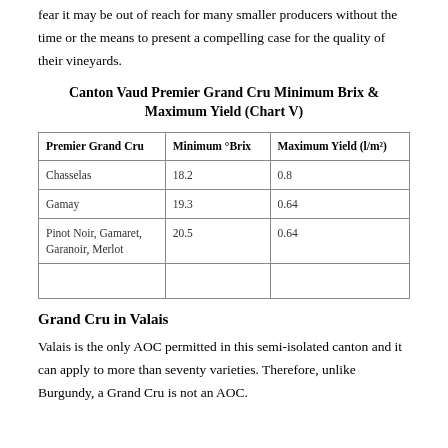fear it may be out of reach for many smaller producers without the time or the means to present a compelling case for the quality of their vineyards.
Canton Vaud Premier Grand Cru Minimum Brix & Maximum Yield (Chart V)
| Premier Grand Cru | Minimum °Brix | Maximum Yield (l/m²) |
| --- | --- | --- |
| Chasselas | 18.2 | 0.8 |
| Gamay | 19.3 | 0.64 |
| Pinot Noir, Gamaret, Garanoir, Merlot | 20.5 | 0.64 |
|  |  |  |
Grand Cru in Valais
Valais is the only AOC permitted in this semi-isolated canton and it can apply to more than seventy varieties. Therefore, unlike Burgundy, a Grand Cru is not an AOC.